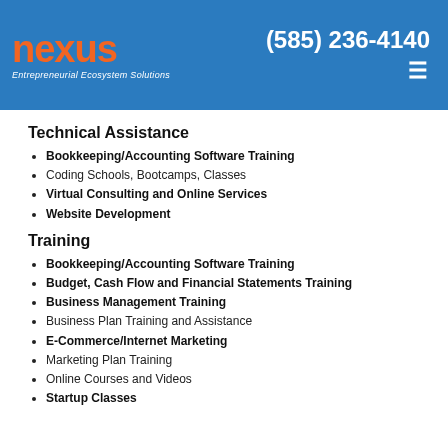nexus Entrepreneurial Ecosystem Solutions | (585) 236-4140
Technical Assistance
Bookkeeping/Accounting Software Training
Coding Schools, Bootcamps, Classes
Virtual Consulting and Online Services
Website Development
Training
Bookkeeping/Accounting Software Training
Budget, Cash Flow and Financial Statements Training
Business Management Training
Business Plan Training and Assistance
E-Commerce/Internet Marketing
Marketing Plan Training
Online Courses and Videos
Startup Classes